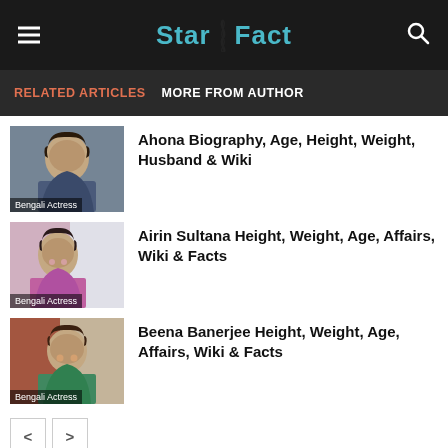StarSFact
RELATED ARTICLES   MORE FROM AUTHOR
[Figure (photo): Photo of Bengali actress Ahona with dark hair]
Ahona Biography, Age, Height, Weight, Husband & Wiki
[Figure (photo): Photo of Bengali actress Airin Sultana in pink top]
Airin Sultana Height, Weight, Age, Affairs, Wiki & Facts
[Figure (photo): Photo of Bengali actress Beena Banerjee in green sari]
Beena Banerjee Height, Weight, Age, Affairs, Wiki & Facts